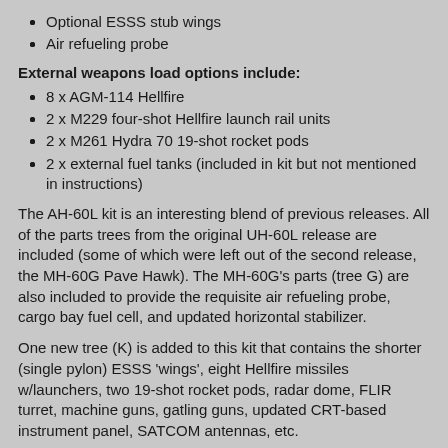Optional ESSS stub wings
Air refueling probe
External weapons load options include:
8 x AGM-114 Hellfire
2 x M229 four-shot Hellfire launch rail units
2 x M261 Hydra 70 19-shot rocket pods
2 x external fuel tanks (included in kit but not mentioned in instructions)
The AH-60L kit is an interesting blend of previous releases. All of the parts trees from the original UH-60L release are included (some of which were left out of the second release, the MH-60G Pave Hawk). The MH-60G's parts (tree G) are also included to provide the requisite air refueling probe, cargo bay fuel cell, and updated horizontal stabilizer.
One new tree (K) is added to this kit that contains the shorter (single pylon) ESSS 'wings', eight Hellfire missiles w/launchers, two 19-shot rocket pods, radar dome, FLIR turret, machine guns, gatling guns, updated CRT-based instrument panel, SATCOM antennas, etc.